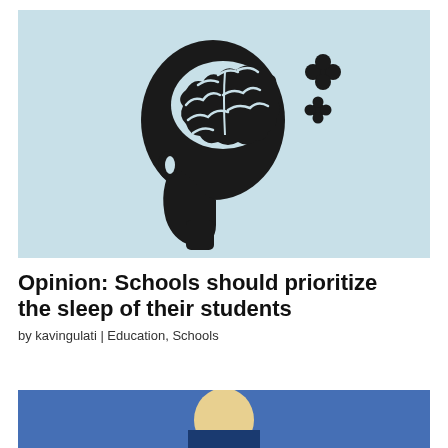[Figure (illustration): Illustration of a side-profile silhouette of a human head with a visible brain on a light blue background. Small decorative four-petal flower shapes float near the top right of the head, suggesting thoughts or ideas escaping.]
Opinion: Schools should prioritize the sleep of their students
by kavingulati | Education, Schools
[Figure (photo): Partial photo visible at bottom of page, appears to show people in sports or active setting, partially cropped.]